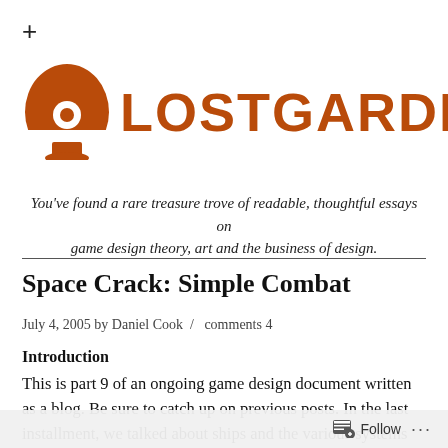[Figure (logo): Lostgarden website logo: orange mushroom/character icon on the left and the text LOSTGARDEN in large bold orange uppercase letters on the right.]
You've found a rare treasure trove of readable, thoughtful essays on game design theory, art and the business of design.
Space Crack: Simple Combat
July 4, 2005 by Daniel Cook  /  comments 4
Introduction
This is part 9 of an ongoing game design document written as a blog. Be sure to catch up on previous posts. In the last installment, we talked about ships and the various systems involved with movement and stacking.